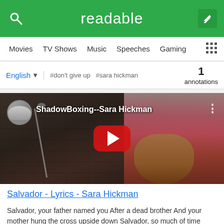readable
Movies  TV Shows  Music  Speeches  Gaming
English  #don't give up  #sara hickman  1 annotations
[Figure (screenshot): YouTube video thumbnail for ShadowBoxing--Sara Hickman, showing a woman playing guitar with a channel avatar of a man with glasses on the left]
Salvador - Lyrics - Sara Hickman
Salvador, your father named you After a dead brother And your mother hung the cross upside down Salvador, so much of time hung over Old men's sleeves The prick of guilt's thorn rusted and worn Sewn...
English  #Salvador  #sara hickman  1 annotations